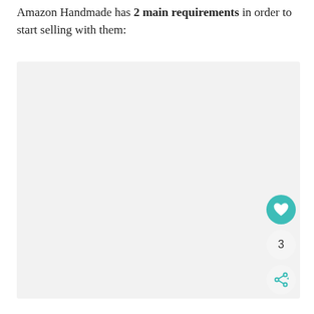Amazon Handmade has 2 main requirements in order to start selling with them:
[Figure (other): Large light gray placeholder box occupying most of the page below the text paragraph]